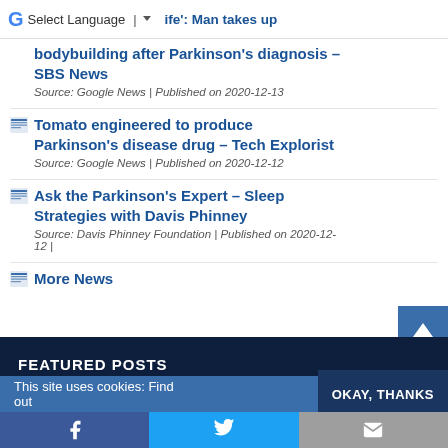Select Language | Google Translate bar
…ife': Man takes up bodybuilding after Parkinson's diagnosis – SBS News | Source: Google News | Published on 2020-12-13
Tomato engineered to produce Parkinson's disease drug – Tech Explorist | Source: Google News | Published on 2020-12-12
Ask the Parkinson's Expert – Sleep Strategies with Davis Phinney | Source: Davis Phinney Foundation | Published on 2020-12-12 |
More News
FEATURED POSTS
This site uses cookies: Find out
OKAY, THANKS